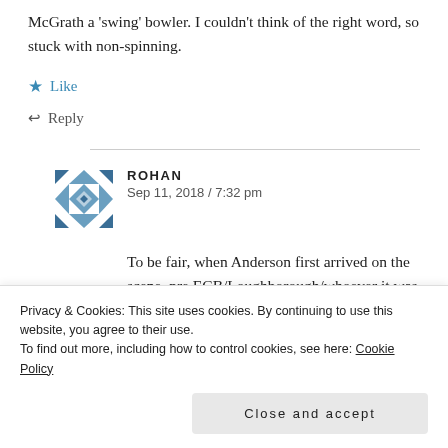McGrath a 'swing' bowler. I couldn't think of the right word, so stuck with non-spinning.
★ Like
↩ Reply
ROHAN
Sep 11, 2018 / 7:32 pm
To be fair, when Anderson first arrived on the scene, pre ECB/Loughborough/whoever it was that tried to meddle with his action, he
Privacy & Cookies: This site uses cookies. By continuing to use this website, you agree to their use.
To find out more, including how to control cookies, see here: Cookie Policy
Close and accept